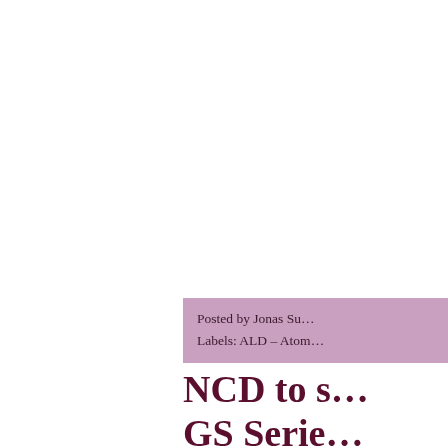Posted by Jonas Su… Labels: ALD – Atom…
NCD to s… GS Serie…